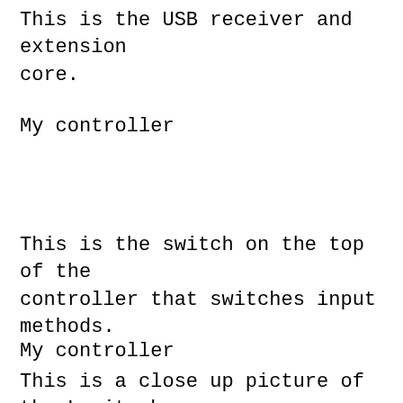This is the USB receiver and extension core.
My controller
This is the switch on the top of the controller that switches input methods.
My controller
This is a close up picture of the Logitech